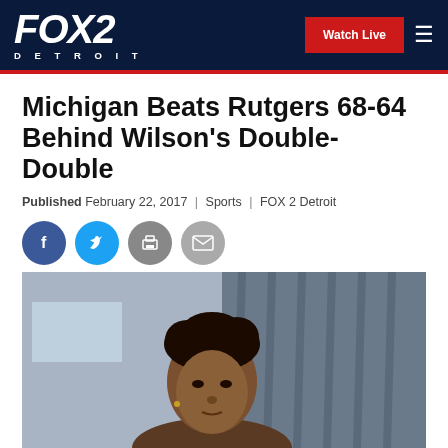FOX 2 DETROIT | Watch Live
Michigan Beats Rutgers 68-64 Behind Wilson's Double-Double
Published February 22, 2017 | Sports | FOX 2 Detroit
[Figure (photo): Social sharing icons: Facebook, Twitter, Print, Email]
[Figure (photo): Photo of a young man with curly hair in front of a draped background]